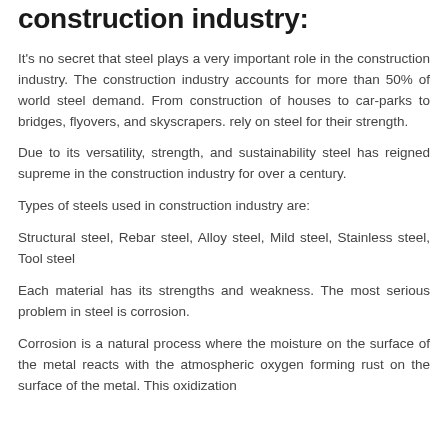construction industry:
It's no secret that steel plays a very important role in the construction industry. The construction industry accounts for more than 50% of world steel demand. From construction of houses to car-parks to bridges, flyovers, and skyscrapers. rely on steel for their strength.
Due to its versatility, strength, and sustainability steel has reigned supreme in the construction industry for over a century.
Types of steels used in construction industry are:
Structural steel, Rebar steel, Alloy steel, Mild steel, Stainless steel, Tool steel
Each material has its strengths and weakness. The most serious problem in steel is corrosion.
Corrosion is a natural process where the moisture on the surface of the metal reacts with the atmospheric oxygen forming rust on the surface of the metal. This oxidization